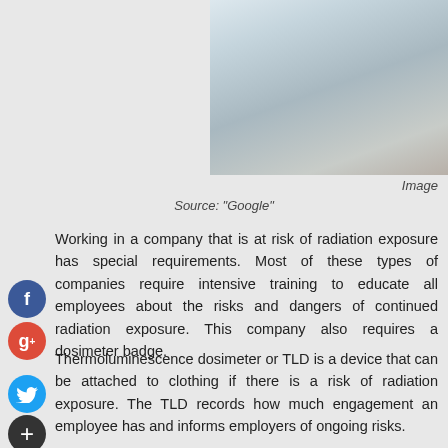[Figure (photo): Person in white coat near a device, partial view from mid-torso up]
Image
Source: "Google"
Working in a company that is at risk of radiation exposure has special requirements. Most of these types of companies require intensive training to educate all employees about the risks and dangers of continued radiation exposure. This company also requires a dosimeter badge.
Thermoluminescence dosimeter or TLD is a device that can be attached to clothing if there is a risk of radiation exposure. The TLD records how much engagement an employee has and informs employers of ongoing risks.